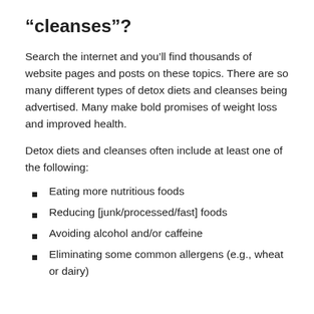“cleanses”?
Search the internet and you’ll find thousands of website pages and posts on these topics. There are so many different types of detox diets and cleanses being advertised. Many make bold promises of weight loss and improved health.
Detox diets and cleanses often include at least one of the following:
Eating more nutritious foods
Reducing [junk/processed/fast] foods
Avoiding alcohol and/or caffeine
Eliminating some common allergens (e.g., wheat or dairy)